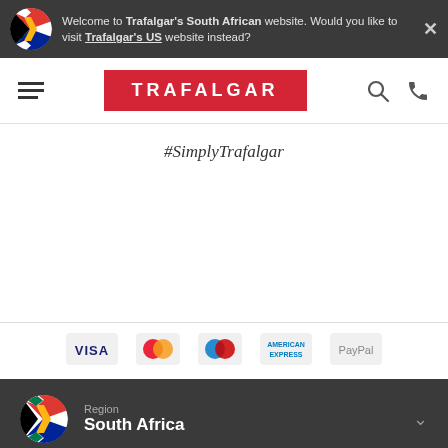Welcome to Trafalgar's South African website. Would you like to visit Trafalgar's US website instead?
[Figure (logo): Trafalgar logo on red background]
#SimplyTrafalgar
[Figure (infographic): Payment method logos: VISA, Mastercard, Maestro, American Express, PayPal]
Region
South Africa